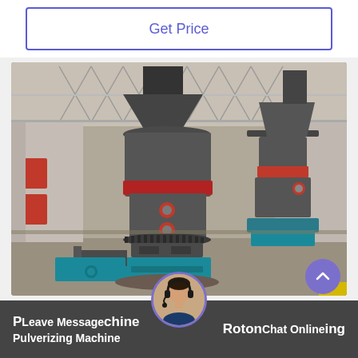Get Price
[Figure (photo): Industrial grinding mill machines (Raymond mills) with grey cylindrical bodies, red accent bands, and teal/blue bases, photographed inside a large factory warehouse with a steel truss roof.]
Leave Message   Roton   Chat Online
P...chine   ...ting   Pulverizing Machine